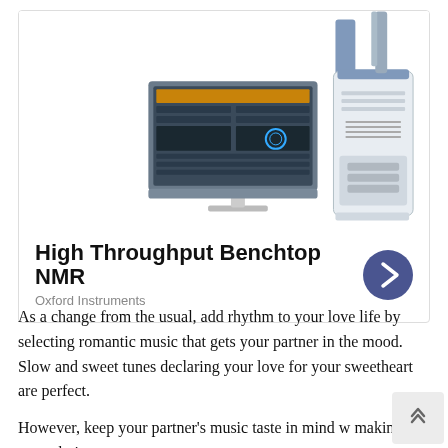[Figure (photo): Product image showing a computer monitor with NMR software and a benchtop NMR instrument (white and blue laboratory device) from Oxford Instruments.]
High Throughput Benchtop NMR
Oxford Instruments
As a change from the usual, add rhythm to your love life by selecting romantic music that gets your partner in the mood. Slow and sweet tunes declaring your love for your sweetheart are perfect.
However, keep your partner's music taste in mind w making your choices.